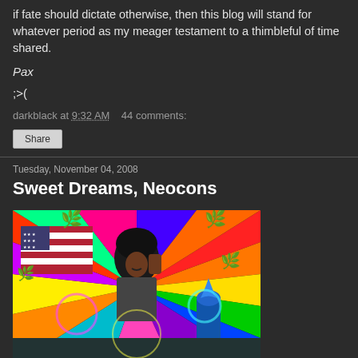if fate should dictate otherwise, then this blog will stand for whatever period as my meager testament to a thimbleful of time shared.
Pax
;>(
darkblack at 9:32 AM    44 comments:
Share
Tuesday, November 04, 2008
Sweet Dreams, Neocons
[Figure (photo): Colorful psychedelic image with a figure holding up their fist in front of an American flag, surrounded by cannabis leaves and rainbow swirling patterns, with a Russian-style church dome visible in the background.]